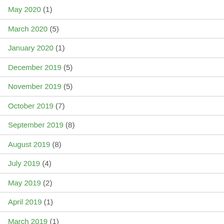May 2020 (1)
March 2020 (5)
January 2020 (1)
December 2019 (5)
November 2019 (5)
October 2019 (7)
September 2019 (8)
August 2019 (8)
July 2019 (4)
May 2019 (2)
April 2019 (1)
March 2019 (1)